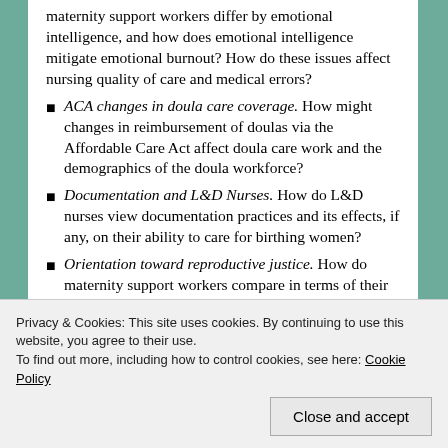maternity support workers differ by emotional intelligence, and how does emotional intelligence mitigate emotional burnout? How do these issues affect nursing quality of care and medical errors?
ACA changes in doula care coverage. How might changes in reimbursement of doulas via the Affordable Care Act affect doula care work and the demographics of the doula workforce?
Documentation and L&D Nurses. How do L&D nurses view documentation practices and its effects, if any, on their ability to care for birthing women?
Orientation toward reproductive justice. How do maternity support workers compare in terms of their attitudes toward choice and rights in the context of reproductive and maternity practices?
Country comparisons. How are the Canadian and the U.S.
Privacy & Cookies: This site uses cookies. By continuing to use this website, you agree to their use.
To find out more, including how to control cookies, see here: Cookie Policy
Close and accept